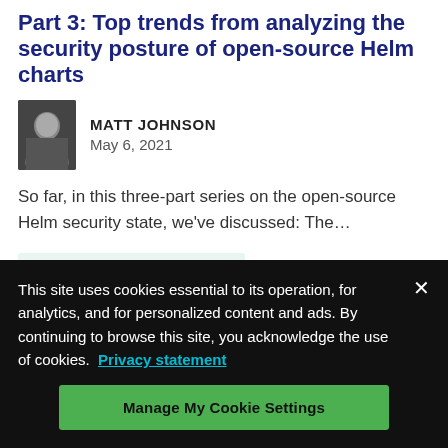Part 3: Top trends from analyzing the security posture of open-source Helm charts
MATT JOHNSON
May 6, 2021
So far, in this three-part series on the open-source Helm security state, we’ve discussed: The…
OPEN SOURCE PROJECTS
This site uses cookies essential to its operation, for analytics, and for personalized content and ads. By continuing to browse this site, you acknowledge the use of cookies.  Privacy statement
Manage My Cookie Settings